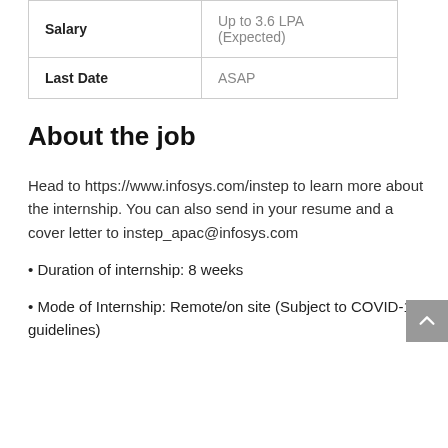|  |  |
| --- | --- |
| Salary | Up to 3.6 LPA (Expected) |
| Last Date | ASAP |
About the job
Head to https://www.infosys.com/instep to learn more about the internship. You can also send in your resume and a cover letter to instep_apac@infosys.com
• Duration of internship: 8 weeks
• Mode of Internship: Remote/on site (Subject to COVID-19 guidelines)